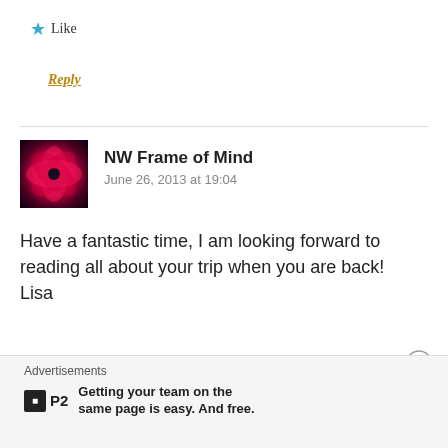★ Like
Reply
NW Frame of Mind
June 26, 2013 at 19:04
Have a fantastic time, I am looking forward to reading all about your trip when you are back!
Lisa
★ Like
Advertisements
P2 Getting your team on the same page is easy. And free.